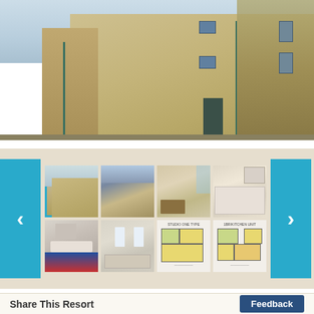[Figure (photo): Exterior photo of a multi-story brick resort hotel building against a blue sky, taken from a low angle showing the facade with windows and architectural details]
[Figure (photo): Gallery strip with navigation arrows and 8 thumbnail images: hotel exterior (selected), hotel exterior with marina, interior dining/living room, kitchen, bedroom, bathroom, and two floor plan diagrams]
Share This Resort
Feedback